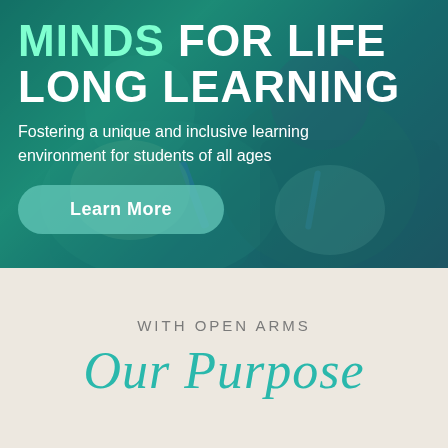[Figure (photo): Children writing/studying at desks, photo with teal/green color overlay]
MINDS FOR LIFE LONG LEARNING
Fostering a unique and inclusive learning environment for students of all ages
Learn More
WITH OPEN ARMS
Our Purpose